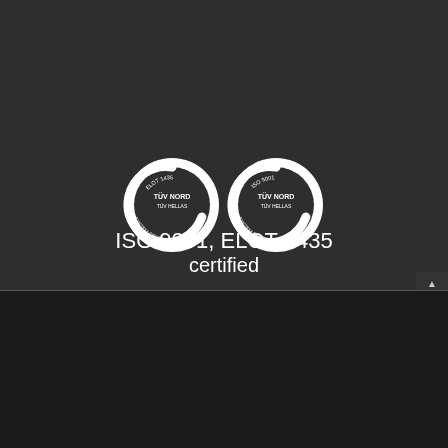[Figure (logo): Two TÜV NORD TÜV HELLAS System Certification circular badges side by side, one labeled ELOT 1435 and one labeled ISO 9001, shown in white on dark background]
ISO 9001, ELOT 1435
certified
We are using cookies to give you the best experience on our website.
You can find out more about which cookies we are using or switch them off in settings.
Accept